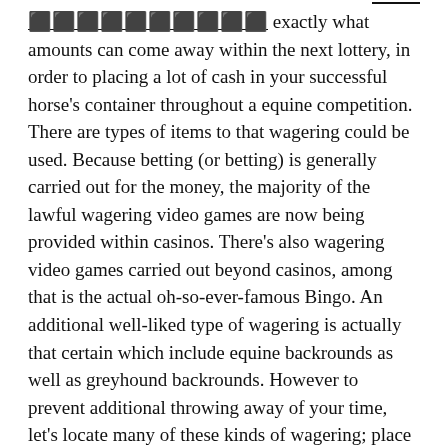⬛⬛⬛⬛⬛⬛⬛⬛⬛⬛ exactly what amounts can come away within the next lottery, in order to placing a lot of cash in your successful horse's container throughout a equine competition. There are types of items to that wagering could be used. Because betting (or betting) is generally carried out for the money, the majority of the lawful wagering video games are now being provided within casinos. There's also wagering video games carried out beyond casinos, among that is the actual oh-so-ever-famous Bingo. An additional well-liked type of wagering is actually that certain which include equine backrounds as well as greyhound backrounds. However to prevent additional throwing away of your time, let's locate many of these kinds of wagering; place all of them inside a container, maintain all of them secure inside a part of the space for some time, and begin referring to the rest, the greater test of the most recent activities